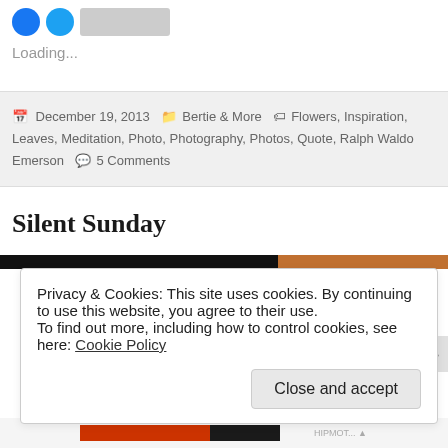[Figure (other): Social media sharing icons (Facebook blue circle, Twitter blue circle) and a grey bar element]
Loading...
December 19, 2013  Bertie & More  Flowers, Inspiration, Leaves, Meditation, Photo, Photography, Photos, Quote, Ralph Waldo Emerson  5 Comments
Silent Sunday
Privacy & Cookies: This site uses cookies. By continuing to use this website, you agree to their use.
To find out more, including how to control cookies, see here: Cookie Policy
Close and accept